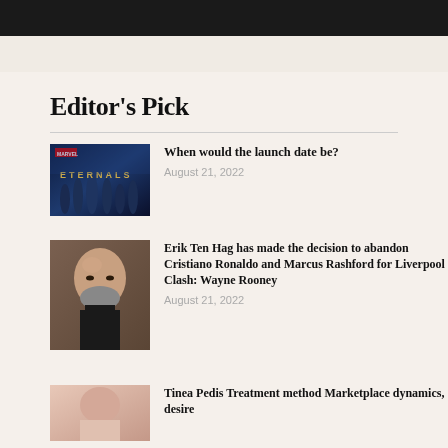[Figure (photo): Dark banner/header bar at top of page]
Editor's Pick
[Figure (photo): Eternals Marvel movie promotional image with characters]
When would the launch date be?
August 21, 2022
[Figure (photo): Erik Ten Hag portrait photo, bald man with beard]
Erik Ten Hag has made the decision to abandon Cristiano Ronaldo and Marcus Rashford for Liverpool Clash: Wayne Rooney
August 21, 2022
[Figure (photo): Tinea Pedis article thumbnail image]
Tinea Pedis Treatment method Marketplace dynamics, desire